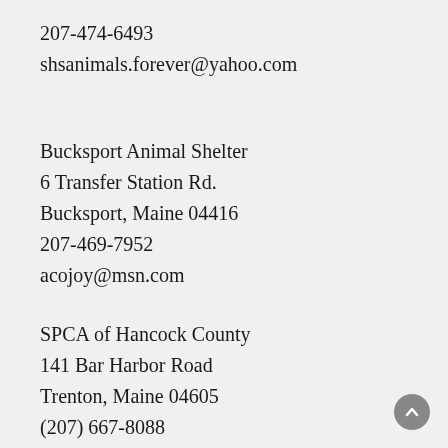207-474-6493
shsanimals.forever@yahoo.com
Bucksport Animal Shelter
6 Transfer Station Rd.
Bucksport, Maine 04416
207-469-7952
acojoy@msn.com
SPCA of Hancock County
141 Bar Harbor Road
Trenton, Maine 04605
(207) 667-8088
info@spcahancockcounty.org